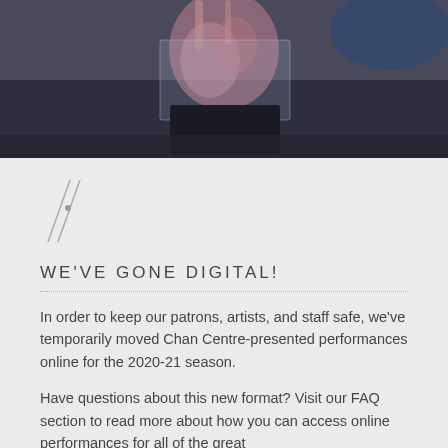[Figure (photo): A person performing on stage, wearing a kimono-style garment with floral pattern, holding a translucent object, dark background with blue lighting in the upper right.]
[Figure (logo): Chan Centre logo — two diagonal lines crossing with a small dot, resembling conductor's batons or abstract art symbol, gray color.]
WE'VE GONE DIGITAL!
In order to keep our patrons, artists, and staff safe, we've temporarily moved Chan Centre-presented performances online for the 2020-21 season.
Have questions about this new format? Visit our FAQ section to read more about how you can access online performances for all of the great